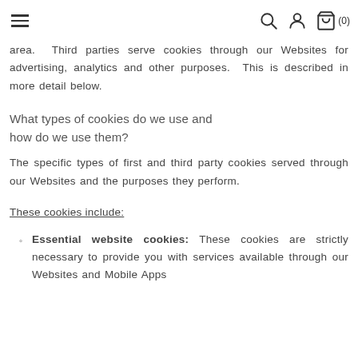Navigation header with menu, search, account, and cart icons
area. Third parties serve cookies through our Websites for advertising, analytics and other purposes. This is described in more detail below.
What types of cookies do we use and how do we use them?
The specific types of first and third party cookies served through our Websites and the purposes they perform.
These cookies include:
Essential website cookies: These cookies are strictly necessary to provide you with services available through our Websites and Mobile Apps